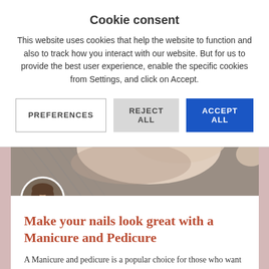Cookie consent
This website uses cookies that help the website to function and also to track how you interact with our website. But for us to provide the best user experience, enable the specific cookies from Settings, and click on Accept.
[Figure (screenshot): Three buttons: PREFERENCES (white/border), REJECT ALL (gray), ACCEPT ALL (blue)]
[Figure (photo): Close-up photo of hands/feet on a gray towel background, manicure/pedicure context]
[Figure (photo): Circular author avatar photo of a woman with glasses and brown hair]
Make your nails look great with a Manicure and Pedicure
A Manicure and pedicure is a popular choice for those who want to look after their hands and feet. These services can help with nail